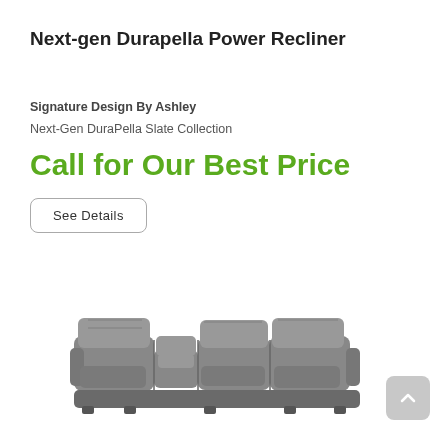Next-gen Durapella Power Recliner
Signature Design By Ashley
Next-Gen DuraPella Slate Collection
Call for Our Best Price
See Details
[Figure (photo): A grey sectional power recliner sofa (Next-Gen DuraPella Slate Collection by Signature Design by Ashley) shown from a slightly elevated front angle. The sofa is a large curved sectional with multiple reclining seats.]